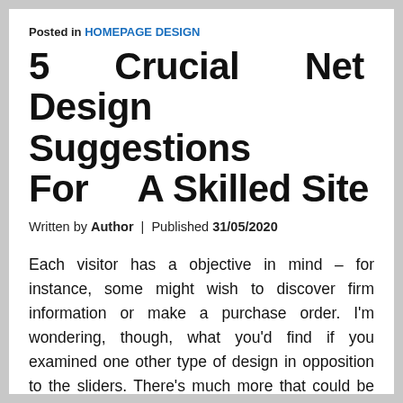Posted in HOMEPAGE DESIGN
5 Crucial Net Design Suggestions For A Skilled Site
Written by Author | Published 31/05/2020
Each visitor has a objective in mind – for instance, some might wish to discover firm information or make a purchase order. I'm wondering, though, what you'd find if you examined one other type of design in opposition to the sliders. There's much more that could be stated on the topic of homepage design mistakes, and we didn't even get to the technical points (like using elements in a way that isn't for accessibility